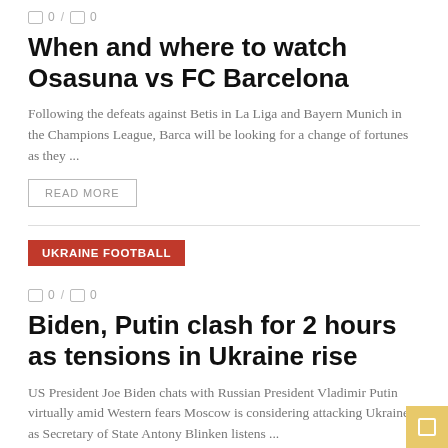0 / 0
When and where to watch Osasuna vs FC Barcelona
Following the defeats against Betis in La Liga and Bayern Munich in the Champions League, Barca will be looking for a change of fortunes as they ...
READ MORE
UKRAINE FOOTBALL
0 / 0
Biden, Putin clash for 2 hours as tensions in Ukraine rise
US President Joe Biden chats with Russian President Vladimir Putin virtually amid Western fears Moscow is considering attacking Ukraine, as Secretary of State Antony Blinken listens ...